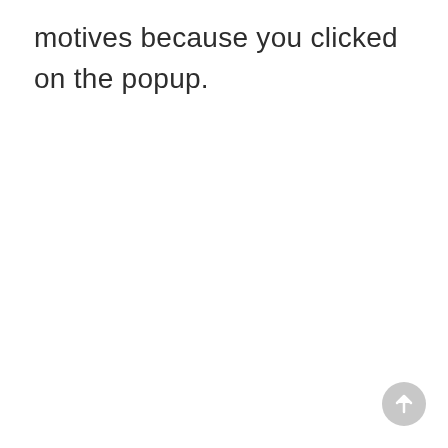motives because you clicked on the popup.